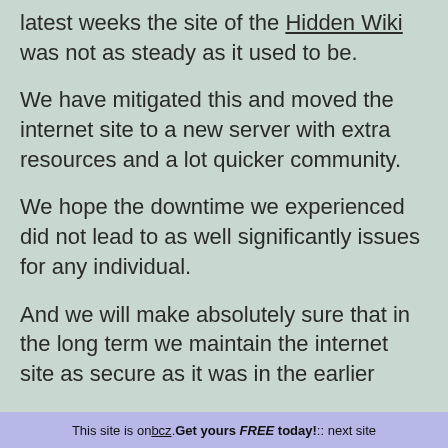latest weeks the site of the Hidden Wiki was not as steady as it used to be.
We have mitigated this and moved the internet site to a new server with extra resources and a lot quicker community.
We hope the downtime we experienced did not lead to as well significantly issues for any individual.
And we will make absolutely sure that in the long term we maintain the internet site as secure as it was in the earlier.
This site is on bcz. Get yours FREE today! :: next site